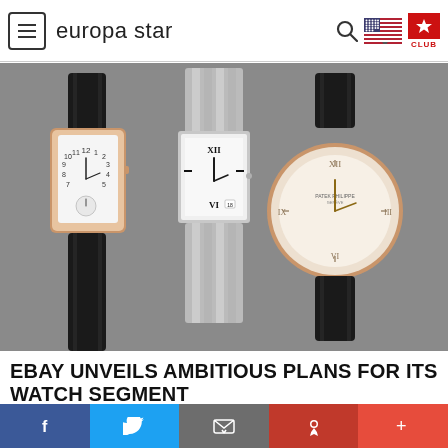europa star
[Figure (photo): Three luxury watches displayed side by side: a rectangular Jaeger-LeCoultre Reverso with rose gold case and black leather strap (left), a silver/steel Cartier Tank Française with metal bracelet (center), and a round Patek Philippe with rose gold case and black leather strap (right), all photographed on a gray background.]
EBAY UNVEILS AMBITIOUS PLANS FOR ITS WATCH SEGMENT
E-COMMERCE
f  Twitter  Email  Pinterest  +